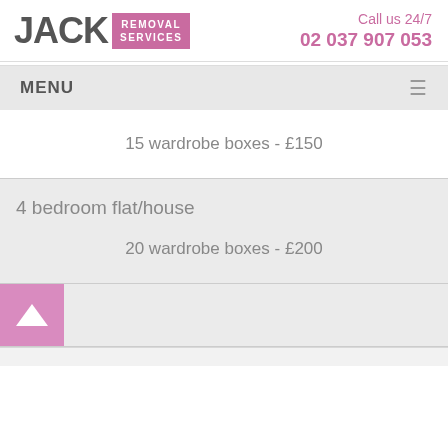[Figure (logo): Jack Removal Services logo with 'JACK' in large grey text and 'REMOVAL SERVICES' in a pink/purple badge]
Call us 24/7
02 037 907 053
MENU
15 wardrobe boxes - £150
4 bedroom flat/house
20 wardrobe boxes - £200
[Figure (other): Pink square button with white upward-pointing triangle arrow]